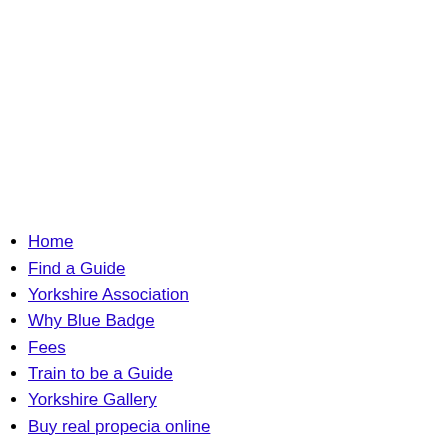Home
Find a Guide
Yorkshire Association
Why Blue Badge
Fees
Train to be a Guide
Yorkshire Gallery
Buy real propecia online